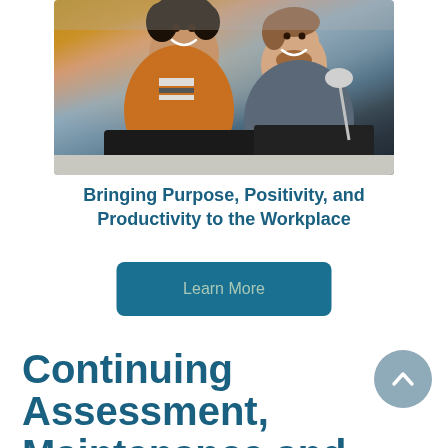[Figure (photo): Two people, a woman with curly hair wearing an orange cardigan and a man with a beard wearing a grey jacket, smiling while looking at a computer monitor in an office setting.]
Bringing Purpose, Positivity, and Productivity to the Workplace
Learn More
Continuing Assessment, Maintenance and